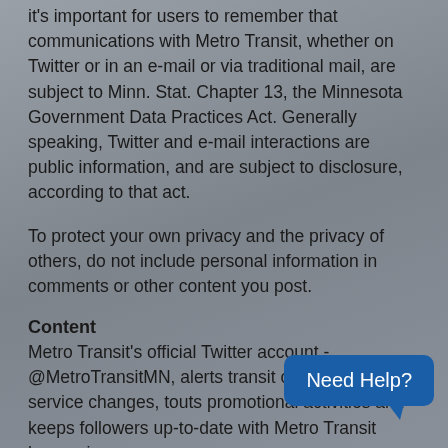it's important for users to remember that communications with Metro Transit, whether on Twitter or in an e-mail or via traditional mail, are subject to Minn. Stat. Chapter 13, the Minnesota Government Data Practices Act. Generally speaking, Twitter and e-mail interactions are public information, and are subject to disclosure, according to that act.
To protect your own privacy and the privacy of others, do not include personal information in comments or other content you post.
Content
Metro Transit's official Twitter account - @MetroTransitMN, alerts transit customers to service changes, touts promotional activities and keeps followers up-to-date with Metro Transit happenings.
If you follow @MetroTransitMN, you can expect regular broadcasts (tweets) covering some or all of the following
[Figure (other): Blue 'Need Help?' chat button widget in the bottom right corner]